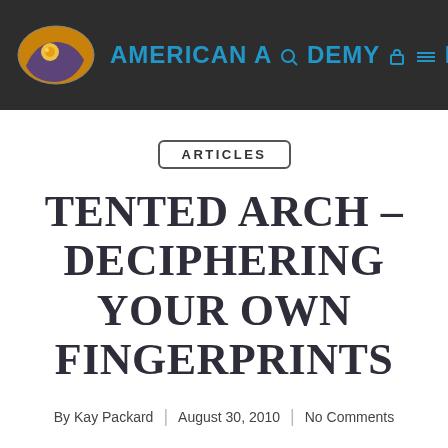AMERICAN ACADEMY OF HAN
ARTICLES
TENTED ARCH – DECIPHERING YOUR OWN FINGERPRINTS
By Kay Packard | August 30, 2010 | No Comments